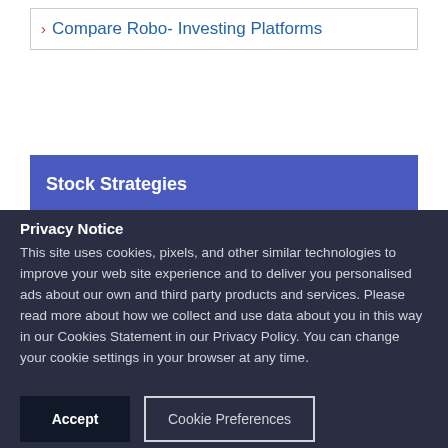Compare Robo- Investing Platforms
Stock Strategies
Privacy Notice
This site uses cookies, pixels, and other similar technologies to improve your web site experience and to deliver you personalised ads about our own and third party products and services. Please read more about how we collect and use data about you in this way in our Cookies Statement in our Privacy Policy. You can change your cookie settings in your browser at any time.